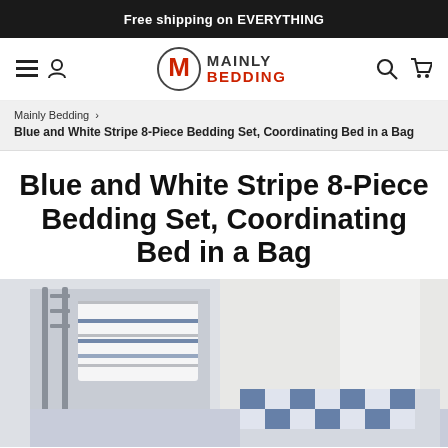Free shipping on EVERYTHING
[Figure (logo): Mainly Bedding logo with circular M emblem and navigation icons]
Mainly Bedding > Blue and White Stripe 8-Piece Bedding Set, Coordinating Bed in a Bag
Blue and White Stripe 8-Piece Bedding Set, Coordinating Bed in a Bag
[Figure (photo): Photo of blue and white striped bedding set on a bed, showing folded pillow and bed with blue/white checkered comforter]